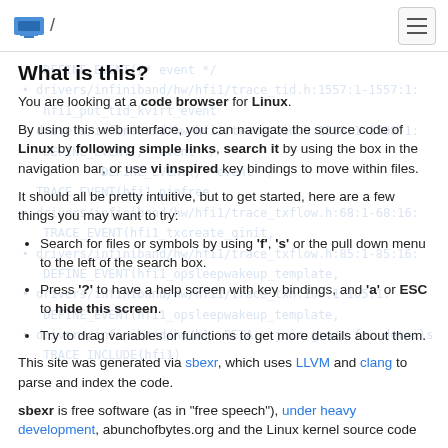/ [logo]
What is this?
You are looking at a code browser for Linux.
By using this web interface, you can navigate the source code of Linux by following simple links, search it by using the box in the navigation bar, or use vi inspired key bindings to move within files.
It should all be pretty intuitive, but to get started, here are a few things you may want to try:
Search for files or symbols by using 'f', 's' or the pull down menu to the left of the search box.
Press '?' to have a help screen with key bindings, and 'a' or ESC to hide this screen.
Try to drag variables or functions to get more details about them.
This site was generated via sbexr, which uses LLVM and clang to parse and index the code.
sbexr is free software (as in "free speech"), under heavy development, abunchofbytes.org and the Linux kernel source code